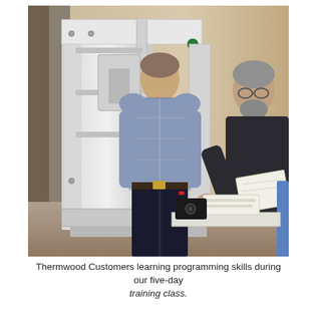[Figure (photo): Two men standing in front of a large white CNC machining center. The man in the foreground has his back to the camera, wearing a blue plaid shirt and dark jeans. The man on the right faces the machine, wearing a dark polo shirt, with gray hair and beard, holding papers. The machine is a large white industrial CNC router in an indoor facility with a tan/beige wall.]
Thermwood Customers learning programming skills during our five-day training class.